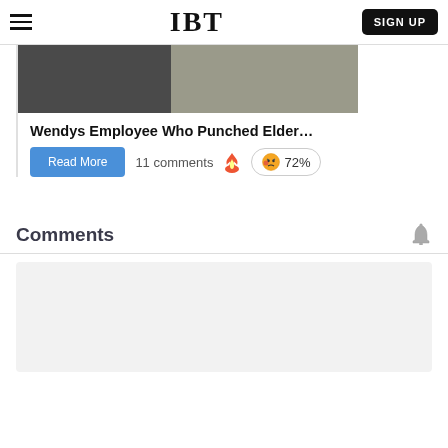IBT | SIGN UP
[Figure (photo): Thumbnail image showing two people, apparently a news story image for a Wendy's employee story]
Wendys Employee Who Punched Elder…
Read More | 11 comments 🔥 😡 72%
Comments
[Figure (screenshot): Comment input area placeholder, light gray background]